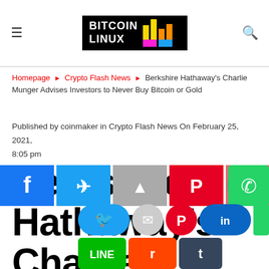Bitcoin Linux
Homepage ▸ Crypto Flash News ▸ Berkshire Hathaway's Charlie Munger Advises Investors to Never Buy Bitcoin or Gold
Published by coinmaker in Crypto Flash News On February 25, 2021, 8:05 pm
Berkshire Hathaway's Charlie Munger